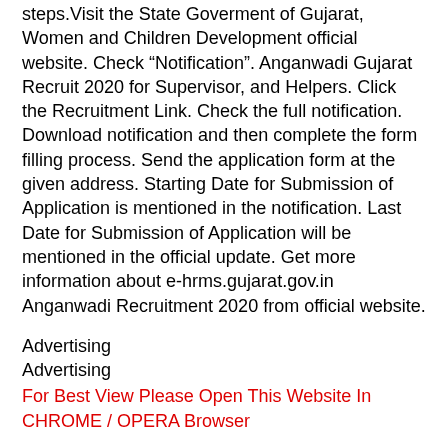steps.Visit the State Goverment of Gujarat, Women and Children Development official website. Check “Notification”. Anganwadi Gujarat Recruit 2020 for Supervisor, and Helpers. Click the Recruitment Link. Check the full notification. Download notification and then complete the form filling process. Send the application form at the given address. Starting Date for Submission of Application is mentioned in the notification. Last Date for Submission of Application will be mentioned in the official update. Get more information about e-hrms.gujarat.gov.in Anganwadi Recruitment 2020 from official website.
Advertising
Advertising
For Best View Please Open This Website In CHROME / OPERA Browser
[Figure (other): Facebook and WhatsApp social media icon buttons side by side]